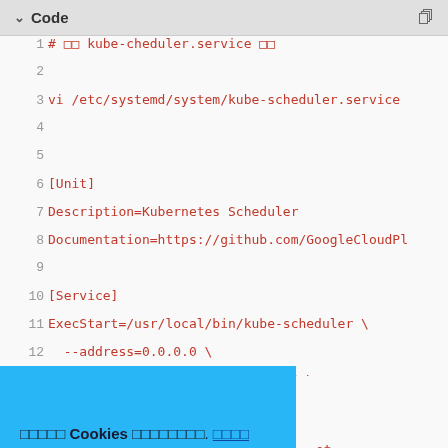Code
[Figure (screenshot): Code editor panel showing a kube-scheduler.service systemd unit file with line numbers 1-14 visible, followed by a partial view of lines 21+. Lines are in red monospace font on a light gray background. A blue cookie consent banner overlays the lower-left portion of the code panel.]
웹사이트 Cookies 를사용합니다. 설정